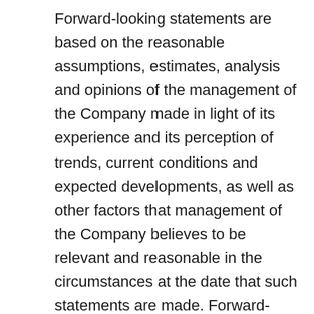Forward-looking statements are based on the reasonable assumptions, estimates, analysis and opinions of the management of the Company made in light of its experience and its perception of trends, current conditions and expected developments, as well as other factors that management of the Company believes to be relevant and reasonable in the circumstances at the date that such statements are made. Forward-looking information is inherently subject to known and unknown risks, significant operational, economic, and competitive uncertainties, contingencies and other factors that may cause the actual results, level of activity, performance or achievements of the Company to be materially different from those expressed or implied by such forward-looking information.